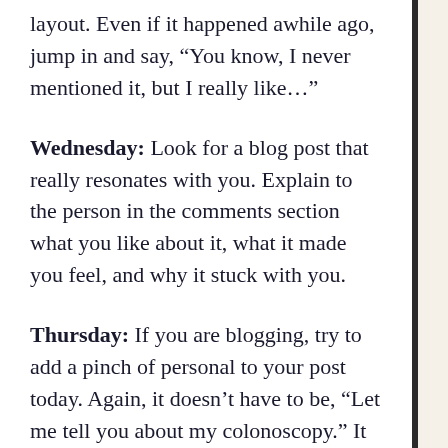layout. Even if it happened awhile ago, jump in and say, “You know, I never mentioned it, but I really like…”
Wednesday: Look for a blog post that really resonates with you. Explain to the person in the comments section what you like about it, what it made you feel, and why it stuck with you.
Thursday: If you are blogging, try to add a pinch of personal to your post today. Again, it doesn’t have to be, “Let me tell you about my colonoscopy.” It can be a story from your childhood, maybe, or something you heard from a friend the other day. Perhaps